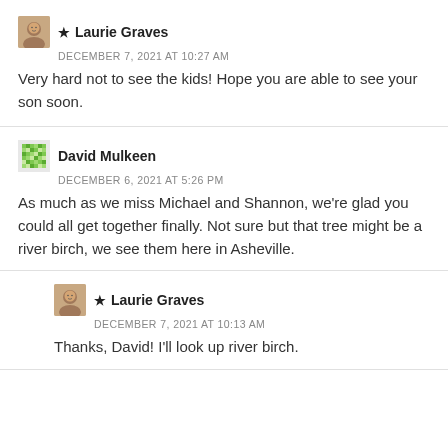★ Laurie Graves
DECEMBER 7, 2021 AT 10:27 AM
Very hard not to see the kids! Hope you are able to see your son soon.
David Mulkeen
DECEMBER 6, 2021 AT 5:26 PM
As much as we miss Michael and Shannon, we're glad you could all get together finally. Not sure but that tree might be a river birch, we see them here in Asheville.
★ Laurie Graves
DECEMBER 7, 2021 AT 10:13 AM
Thanks, David! I'll look up river birch.